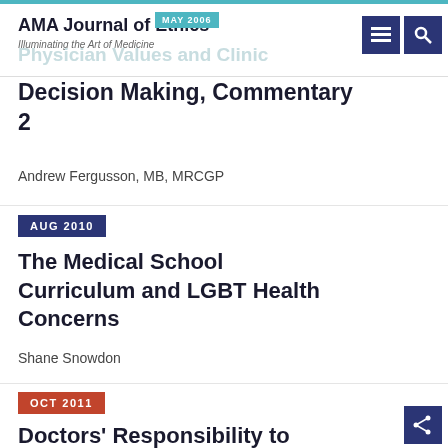AMA Journal of Ethics® — Illuminating the Art of Medicine
Physician Values and Clinical Decision Making, Commentary 2
Andrew Fergusson, MB, MRCGP
AUG 2010
The Medical School Curriculum and LGBT Health Concerns
Shane Snowdon
OCT 2011
Doctors' Responsibility to Reduce Discrimination against Gay, Lesbian, Bisexual, and Transgender People